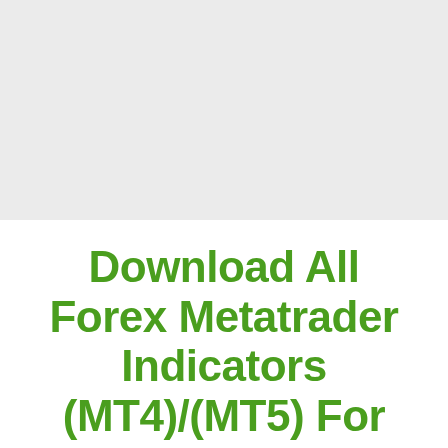[Figure (other): Light gray rectangular area occupying the top half of the page, likely a placeholder for an image or chart.]
Download All Forex Metatrader Indicators (MT4)/(MT5) For FREE For!!!